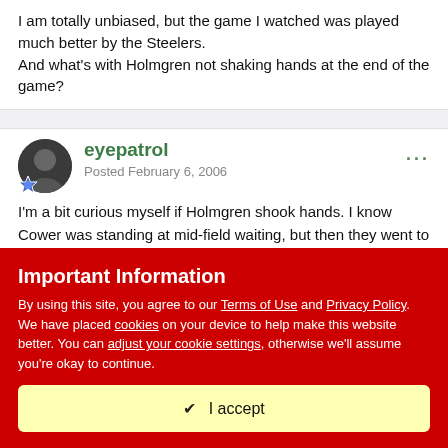I am totally unbiased, but the game I watched was played much better by the Steelers.
And what's with Holmgren not shaking hands at the end of the game?
eyepatrol
Posted February 6, 2006
I'm a bit curious myself if Holmgren shook hands. I know Cower was standing at mid-field waiting, but then they went to a
Important Information
By using this site, you agree to our Terms of Use and Privacy Policy. We have placed cookies on your device to help make this website better. You can adjust your cookie settings, otherwise we'll assume you're okay to continue.
✔  I accept